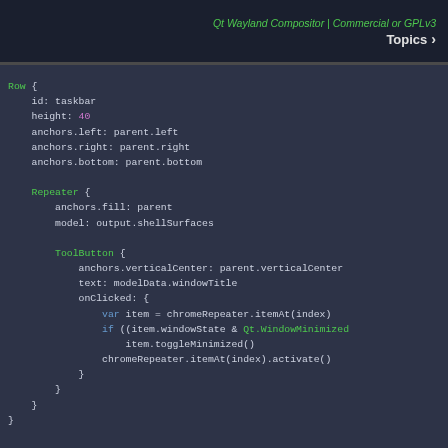Qt Wayland Compositor | Commercial or GPLv3  Topics >
[Figure (screenshot): QML code snippet showing a Row element with id: taskbar, height: 40, anchors, a Repeater with a ToolButton containing onClicked handler with var, if, toggleMinimized, and activate calls.]